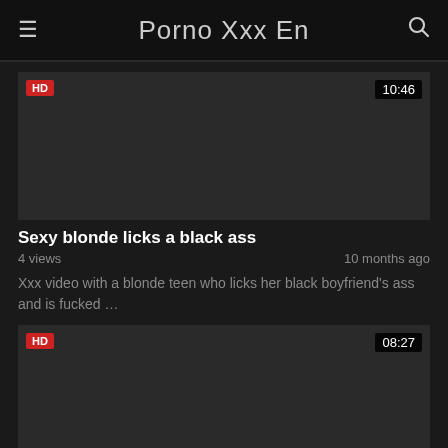Porno Xxx En
[Figure (screenshot): Dark video thumbnail with HD badge top-left and duration 10:46 top-right]
Sexy blonde licks a black ass
4 views
10 months ago
Xxx video with a blonde teen who licks her black boyfriend's ass and is fucked …
[Figure (screenshot): Dark video thumbnail with HD badge top-left and duration 08:27 top-right]
Sexy blonde Nicole Aniston seduces a lawyer